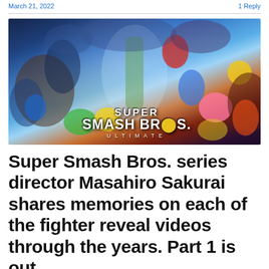March 21, 2022  1 Reply
[Figure (illustration): Super Smash Bros. Ultimate promotional artwork showing many game characters crowded together with the Super Smash Bros. Ultimate logo at the bottom center.]
Super Smash Bros. series director Masahiro Sakurai shares memories on each of the fighter reveal videos through the years. Part 1 is out